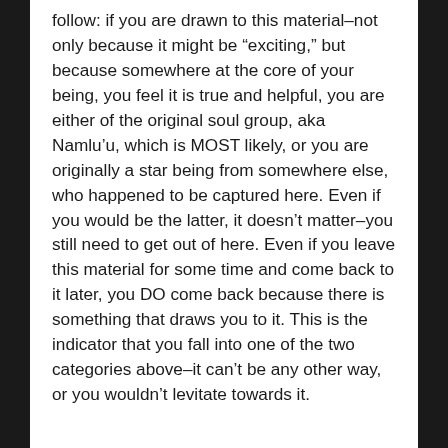follow: if you are drawn to this material–not only because it might be “exciting,” but because somewhere at the core of your being, you feel it is true and helpful, you are either of the original soul group, aka Namlu’u, which is MOST likely, or you are originally a star being from somewhere else, who happened to be captured here. Even if you would be the latter, it doesn’t matter–you still need to get out of here. Even if you leave this material for some time and come back to it later, you DO come back because there is something that draws you to it. This is the indicator that you fall into one of the two categories above–it can’t be any other way, or you wouldn’t levitate towards it.